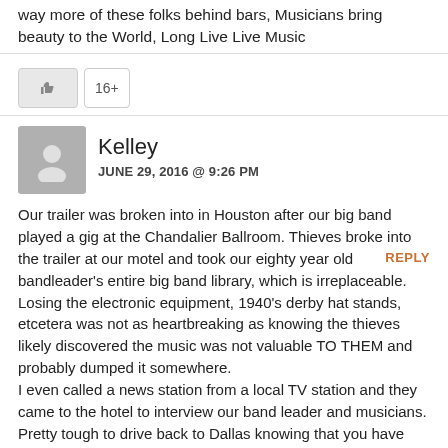way more of these folks behind bars, Musicians bring beauty to the World, Long Live Live Music
[Figure (other): Like button with thumbs up icon and 16+ count]
REPLY
Kelley
JUNE 29, 2016 @ 9:26 PM
Our trailer was broken into in Houston after our big band played a gig at the Chandalier Ballroom. Thieves broke into the trailer at our motel and took our eighty year old bandleader's entire big band library, which is irreplaceable. Losing the electronic equipment, 1940's derby hat stands, etcetera was not as heartbreaking as knowing the thieves likely discovered the music was not valuable TO THEM and probably dumped it somewhere.
I even called a news station from a local TV station and they came to the hotel to interview our band leader and musicians.
Pretty tough to drive back to Dallas knowing that you have NOTHING to put in front of your musicians for the next gig.
Other band leaders helped us out, but Mr. Melick was never able to recover many of our special arrangements.
I am so happy that this crime ring has been discovered!!! Thanks to all who were/are a part of bringing these people to justice.
If there is a way to check and see if they may have NOT discarded our library, I would love to know.